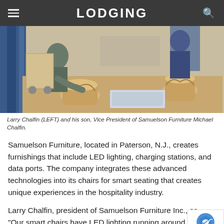LODGING
[Figure (photo): Workshop scene showing Larry Chalfin (LEFT) and his son, Vice President of Samuelson Furniture Michael Chalfin, working with ornate wooden furniture legs on a workbench in a manufacturing facility.]
Larry Chalfin (LEFT) and his son, Vice President of Samuelson Furniture Michael Chalfin.
Samuelson Furniture, located in Paterson, N.J., creates furnishings that include LED lighting, charging stations, and data ports. The company integrates these advanced technologies into its chairs for smart seating that creates unique experiences in the hospitality industry.
Larry Chalfin, president of Samuelson Furniture Inc., sa... "Our smart chairs have LED lighting running around the... a charging port with a USB station for a phone, and sou...